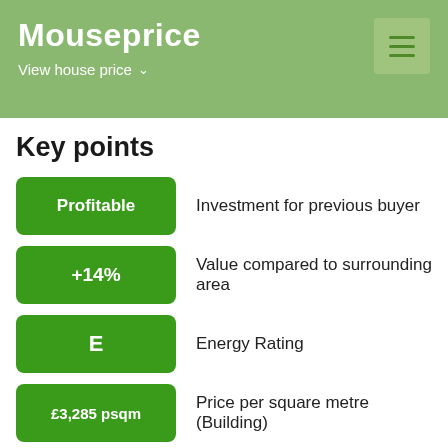Mouseprice
View house price
Key points
Profitable — Investment for previous buyer
+14% — Value compared to surrounding area
E — Energy Rating
£3,285 psqm — Price per square metre (Building)
£890 pcm — Estimated running costs